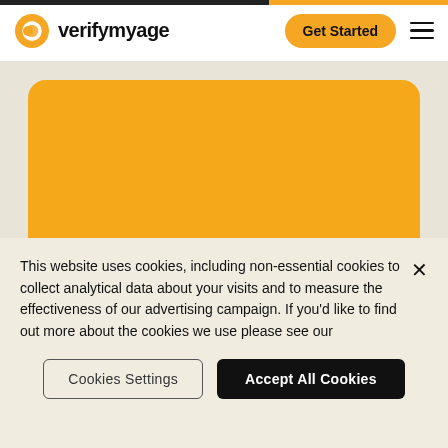[Figure (logo): VerifyMyAge logo with golden circular icon and bold text 'verifymyage']
[Figure (screenshot): Navigation bar with verifymyage logo, 'Get Started' orange button, and hamburger menu]
Accreditations
[Figure (illustration): ISO 27001 Certified circular badge/seal in dark color]
This website uses cookies, including non-essential cookies to collect analytical data about your visits and to measure the effectiveness of our advertising campaign. If you'd like to find out more about the cookies we use please see our
Cookies Settings
Accept All Cookies